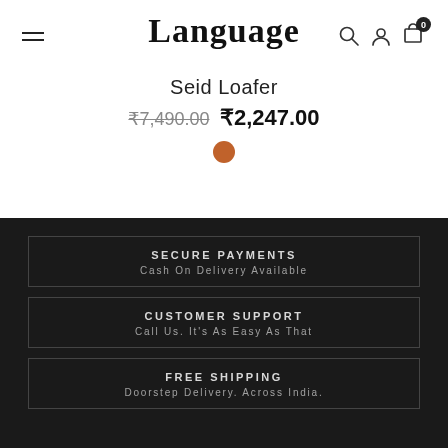Language
Seid Loafer
₹7,490.00 ₹2,247.00
[Figure (other): Orange/brown color swatch dot]
SECURE PAYMENTS
Cash On Delivery Available
CUSTOMER SUPPORT
Call Us. It's As Easy As That
FREE SHIPPING
Doorstep Delivery. Across India.